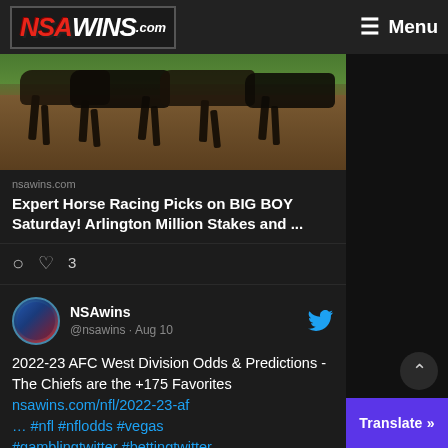NSAWINS.com  Menu
[Figure (photo): Horse racing track photo showing horses' legs on dirt track with green grass in background]
nsawins.com
Expert Horse Racing Picks on BIG BOY Saturday! Arlington Million Stakes and ...
♡ 3
NSAwins @nsawins · Aug 10
2022-23 AFC West Division Odds & Predictions - The Chiefs are the +175 Favorites nsawins.com/nfl/2022-23-af … #nfl #nflodds #vegas #gamblingtwitter #bettingtwitter #nflpicks #freepicks #bettingtips #afcwest #kansascity #chiefs #denver